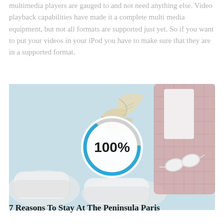multimedia players are gauged to and not need anything else. Video playback capabilities have made it a complete multi media equipment, but not all formats are supported just yet. So if you want to put your videos in your iPod you have to make sure that they are in a supported format.
[Figure (photo): A loading/progress circle overlay (showing 100%) on top of a flat-lay fashion photo with sneakers, autumn leaves, a pink plaid shirt, and sunglasses on a light blue background.]
7 Reasons To Stay At The Peninsula Paris